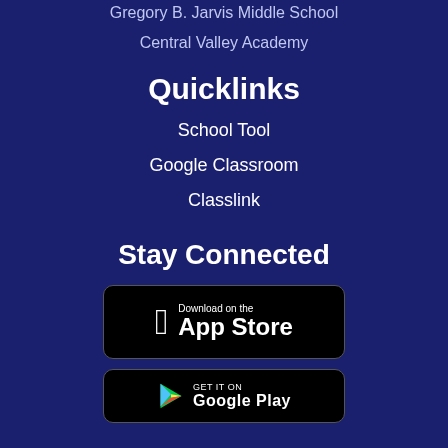Gregory B. Jarvis Middle School
Central Valley Academy
Quicklinks
School Tool
Google Classroom
Classlink
Stay Connected
[Figure (other): Download on the App Store badge]
[Figure (other): Get it on Google Play badge (partially visible)]